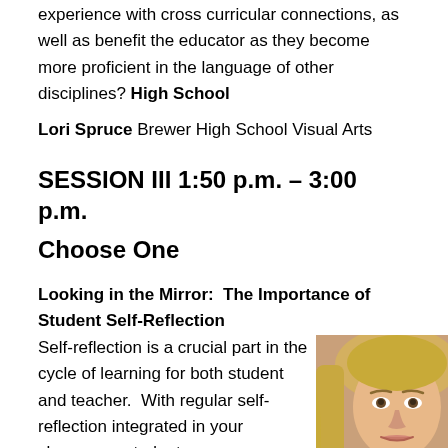experience with cross curricular connections, as well as benefit the educator as they become more proficient in the language of other disciplines? High School
Lori Spruce Brewer High School Visual Arts
SESSION III 1:50 p.m. – 3:00 p.m.
Choose One
Looking in the Mirror:  The Importance of Student Self-Reflection
Self-reflection is a crucial part in the cycle of learning for both student and teacher.  With regular self-reflection integrated in your classroom, students
[Figure (photo): Headshot of a blond woman, close-up portrait photo]